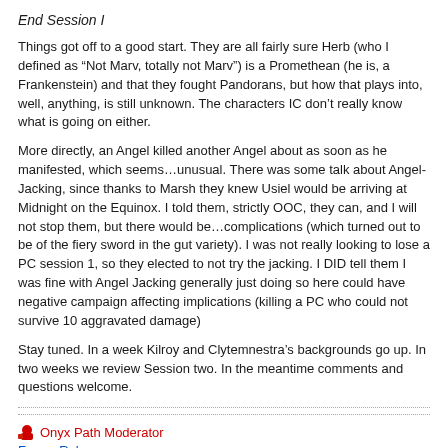End Session I
Things got off to a good start. They are all fairly sure Herb (who I defined as “Not Marv, totally not Marv”) is a Promethean (he is, a Frankenstein) and that they fought Pandorans, but how that plays into, well, anything, is still unknown. The characters IC don’t really know what is going on either.
More directly, an Angel killed another Angel about as soon as he manifested, which seems…unusual. There was some talk about Angel-Jacking, since thanks to Marsh they knew Usiel would be arriving at Midnight on the Equinox. I told them, strictly OOC, they can, and I will not stop them, but there would be…complications (which turned out to be of the fiery sword in the gut variety). I was not really looking to lose a PC session 1, so they elected to not try the jacking. I DID tell them I was fine with Angel Jacking generally just doing so here could have negative campaign affecting implications (killing a PC who could not survive 10 aggravated damage)
Stay tuned. In a week Kilroy and Clytemnestra’s backgrounds go up. In two weeks we review Session two. In the meantime comments and questions welcome.
Onyx Path Moderator
Forum Rules
This is my mod voice. This is my goth voice.